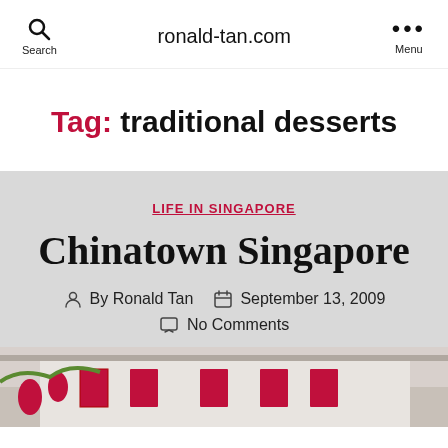ronald-tan.com  Search  Menu
Tag: traditional desserts
LIFE IN SINGAPORE
Chinatown Singapore
By Ronald Tan  September 13, 2009  No Comments
[Figure (photo): Photo of Chinatown Singapore street scene with red lanterns and red-framed windows on white building]